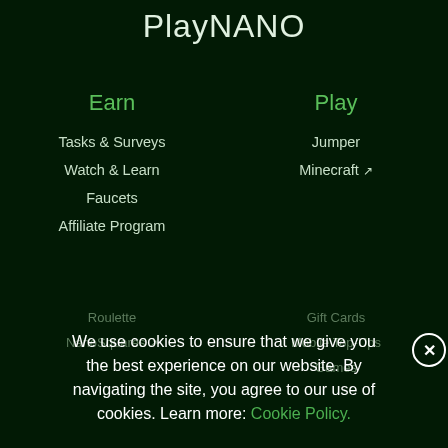PlayNANO
Earn
Play
Tasks & Surveys
Jumper
Watch & Learn
Minecraft ↗
Faucets
Affiliate Program
Roulette
Gift Cards
NanoSquares ↗
Mobile Top-Ups
Games
We use cookies to ensure that we give you the best experience on our website. By navigating the site, you agree to our use of cookies. Learn more: Cookie Policy.